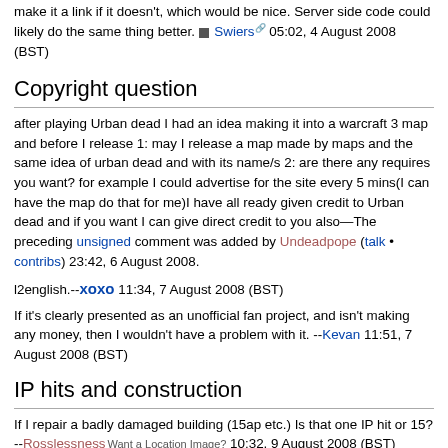make it a link if it doesn't, which would be nice. Server side code could likely do the same thing better. ■ Swiers 05:02, 4 August 2008 (BST)
Copyright question
after playing Urban dead I had an idea making it into a warcraft 3 map and before I release 1: may I release a map made by maps and the same idea of urban dead and with its name/s 2: are there any requires you want? for example I could advertise for the site every 5 mins(I can have the map do that for me)I have all ready given credit to Urban dead and if you want I can give direct credit to you also—The preceding unsigned comment was added by Undeadpope (talk • contribs) 23:42, 6 August 2008.
l2english.--xoxo 11:34, 7 August 2008 (BST)
If it's clearly presented as an unofficial fan project, and isn't making any money, then I wouldn't have a problem with it. --Kevan 11:51, 7 August 2008 (BST)
IP hits and construction
If I repair a badly damaged building (15ap etc.) Is that one IP hit or 15? --Rosslessness Want a Location Image? 10:32, 9 August 2008 (BST)
It'd be one. it's a measure of how many times you refresh the map page not ap. The only exception (as far as i'm aware) is syringe manufacture